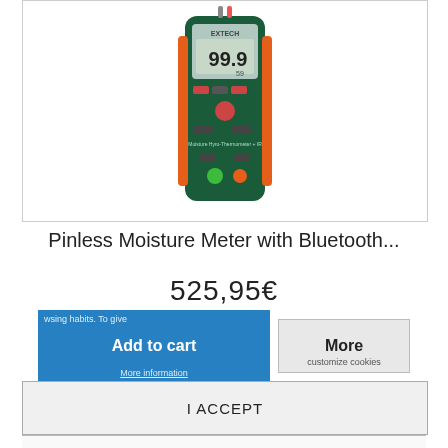[Figure (photo): Extech Pinless Moisture Meter with Bluetooth device, dark green and orange handheld device showing display reading 99.9]
Pinless Moisture Meter with Bluetooth...
525,95€
wsing habits. To give
Add to cart
More information
More
customize cookies
I ACCEPT